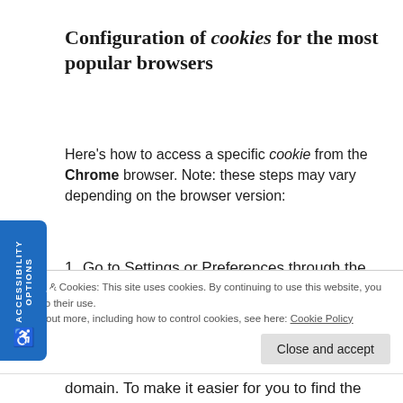Configuration of cookies for the most popular browsers
Here’s how to access a specific cookie from the Chrome browser. Note: these steps may vary depending on the browser version:
1. Go to Settings or Preferences through the File menu or by clicking the personalization icon that appears in the upper right.
2. You will see different sections, click the Show
Privacy & Cookies: This site uses cookies. By continuing to use this website, you agree to their use.
To find out more, including how to control cookies, see here: Cookie Policy
Close and accept
domain. To make it easier for you to find the